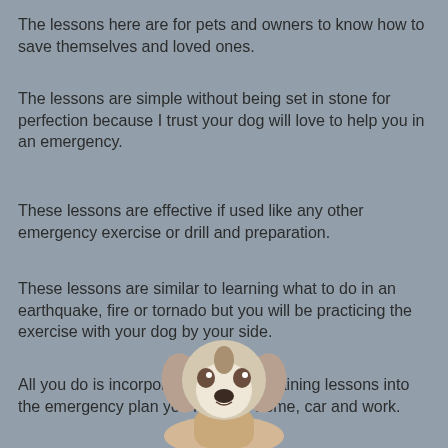The lessons here are for pets and owners to know how to save themselves and loved ones.
The lessons are simple without being set in stone for perfection because I trust your dog will love to help you in an emergency.
These lessons are effective if used like any other emergency exercise or drill and preparation.
These lessons are similar to learning what to do in an earthquake, fire or tornado but you will be practicing the exercise with your dog by your side.
All you do is incorporate these dog training lessons into the emergency plan you have for home, car and work.
[Figure (illustration): Illustration of a cute beagle puppy looking up, being held by a hand]